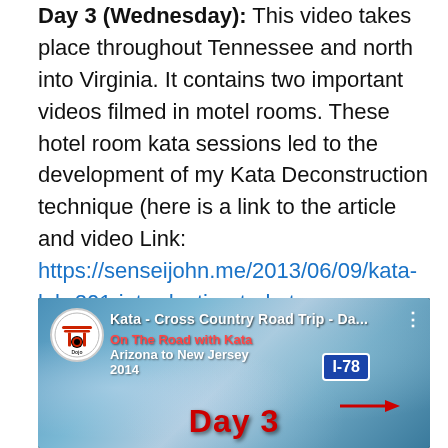Day 3 (Wednesday): This video takes place throughout Tennessee and north into Virginia. It contains two important videos filmed in motel rooms. These hotel room kata sessions led to the development of my Kata Deconstruction technique (here is a link to the article and video Link: https://senseijohn.me/2013/06/09/kata-lab-201-introduction-to-kata-deconstruction/ ) Every Wednesday since the passing of my deceased friend and colleague, Shihan Wayne Norlander, I perform a Kunchaba Kata in his honor. This day was no exception. There is a footage of this performance and Hatsu Bon poem contained on the video.
[Figure (screenshot): YouTube video thumbnail for 'Kata - Cross Country Road Trip - Da...' showing a map of the eastern United States with a route marked, text 'On The Road with Kata', 'Arizona to New Jersey 2014', 'Day 3', 'I-78', and a logo on the left.]